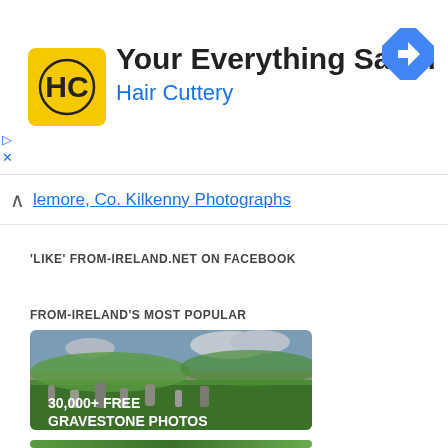[Figure (infographic): Advertisement banner for Hair Cuttery salon showing yellow HC logo, business name 'Your Everything Salon / Hair Cuttery', navigation arrow icon, and ad controls (play/close)]
lemore, Co. Kilkenny Photographs
'LIKE' FROM-IRELAND.NET ON FACEBOOK
FROM-IRELAND'S MOST POPULAR
[Figure (photo): Banner image of Irish graveyard with green grass, stone grave markers, fields and clouds in background. Text overlay reads '30,000+ FREE GRAVESTONE PHOTOS']
[Figure (photo): Partial image at bottom of page, appears to be an Irish landscape photograph]